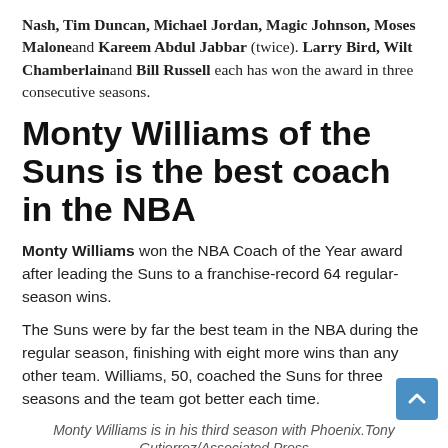Nash, Tim Duncan, Michael Jordan, Magic Johnson, Moses Malone and Kareem Abdul Jabbar (twice). Larry Bird, Wilt Chamberlain and Bill Russell each has won the award in three consecutive seasons.
Monty Williams of the Suns is the best coach in the NBA
Monty Williams won the NBA Coach of the Year award after leading the Suns to a franchise-record 64 regular-season wins.
The Suns were by far the best team in the NBA during the regular season, finishing with eight more wins than any other team. Williams, 50, coached the Suns for three seasons and the team got better each time.
Monty Williams is in his third season with Phoenix.Tony Gutierrez/Associated Press
Williams joins Cotton Fitzsimmons (1988-89) and Mike D'Antoni (2004-05) as award-winning coaches with the Suns